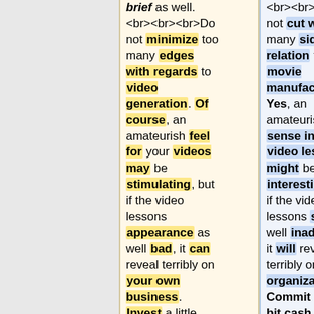<br><br><br>Do not minimize too many edges with regards to video generation. Of course, an amateurish feel for your videos may be stimulating, but if the video lessons appearance as well bad, it can reveal terribly on your own business. Invest a little money on some good video and audio products
<br><br><br>Do not cut way too many sides in relation to movie manufacturing. Yes, an amateurish sense in your video lessons might be interesting, but if the video lessons seem as well inadequate, it will reveal terribly on the organization. Commit a little bit cash on some really good audio and video gear to